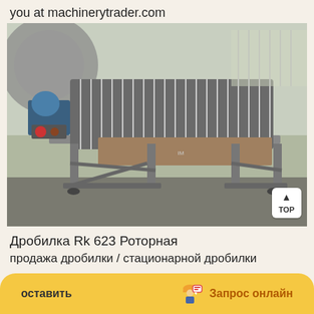you at machinerytrader.com
[Figure (photo): Industrial rotary drum magnetic separator machine on a metal frame, photographed in an outdoor facility. The machine has a cylindrical drum with fins/ribs, and blue motor/drive components on the left side.]
Дробилка Rk 623 Роторная
продажа дробилки / стационарной дробилки
оставить | Запрос онлайн